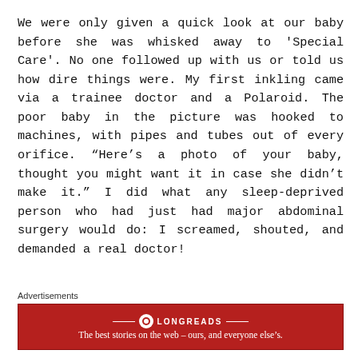We were only given a quick look at our baby before she was whisked away to 'Special Care'. No one followed up with us or told us how dire things were. My first inkling came via a trainee doctor and a Polaroid. The poor baby in the picture was hooked to machines, with pipes and tubes out of every orifice. “Here’s a photo of your baby, thought you might want it in case she didn’t make it.” I did what any sleep-deprived person who had just had major abdominal surgery would do: I screamed, shouted, and demanded a real doctor!
Advertisements
[Figure (other): Longreads advertisement banner with red background. Shows Longreads logo and tagline: 'The best stories on the web – ours, and everyone else's.']